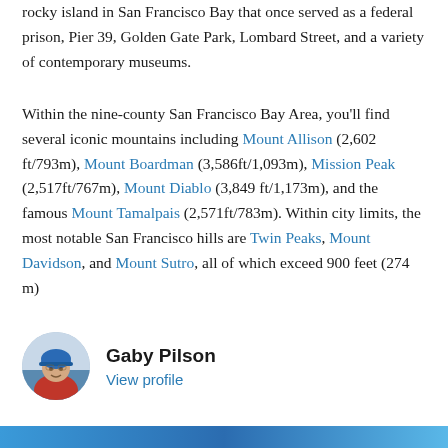rocky island in San Francisco Bay that once served as a federal prison, Pier 39, Golden Gate Park, Lombard Street, and a variety of contemporary museums.
Within the nine-county San Francisco Bay Area, you'll find several iconic mountains including Mount Allison (2,602 ft/793m), Mount Boardman (3,586ft/1,093m), Mission Peak (2,517ft/767m), Mount Diablo (3,849 ft/1,173m), and the famous Mount Tamalpais (2,571ft/783m). Within city limits, the most notable San Francisco hills are Twin Peaks, Mount Davidson, and Mount Sutro, all of which exceed 900 feet (274 m)
[Figure (photo): Circular avatar photo of Gaby Pilson, a person wearing a blue helmet and red jacket outdoors]
Gaby Pilson
View profile